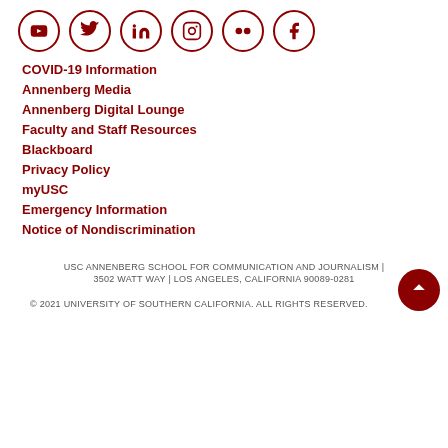[Figure (other): Row of social media icon circles: YouTube, Twitter, LinkedIn, Instagram, Flickr, Facebook]
COVID-19 Information
Annenberg Media
Annenberg Digital Lounge
Faculty and Staff Resources
Blackboard
Privacy Policy
myUSC
Emergency Information
Notice of Nondiscrimination
USC ANNENBERG SCHOOL FOR COMMUNICATION AND JOURNALISM | 3502 WATT WAY | LOS ANGELES, CALIFORNIA 90089-0281
© 2021 UNIVERSITY OF SOUTHERN CALIFORNIA. ALL RIGHTS RESERVED.